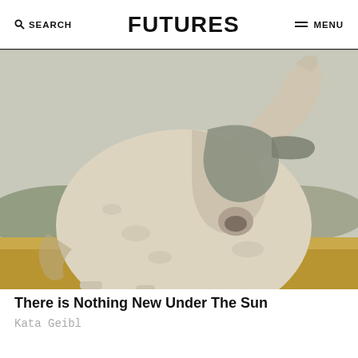SEARCH  FUTURES  MENU
[Figure (photo): A white/grey horse with a grey fly mask covering its head, bending its neck down toward its body. The horse is muscular and stands in a field with straw on the ground and hills in the background. Close-up crop showing mainly the body and masked face of the horse.]
There is Nothing New Under The Sun
Kata Geibl